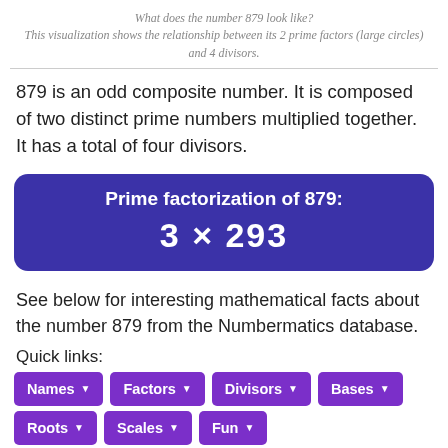What does the number 879 look like?
This visualization shows the relationship between its 2 prime factors (large circles) and 4 divisors.
879 is an odd composite number. It is composed of two distinct prime numbers multiplied together. It has a total of four divisors.
[Figure (other): Dark blue/purple rounded rectangle box displaying 'Prime factorization of 879:' as title and '3 × 293' as the formula in large bold white text.]
See below for interesting mathematical facts about the number 879 from the Numbermatics database.
Quick links:
Names
Factors
Divisors
Bases
Roots
Scales
Fun